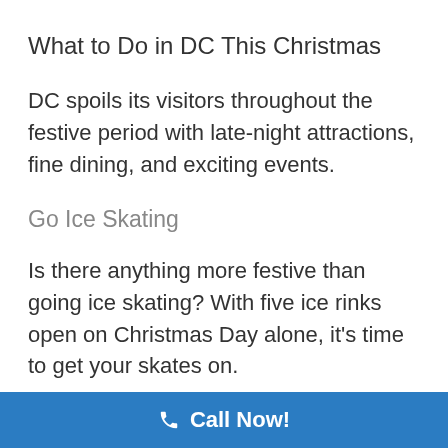What to Do in DC This Christmas
DC spoils its visitors throughout the festive period with late-night attractions, fine dining, and exciting events.
Go Ice Skating
Is there anything more festive than going ice skating? With five ice rinks open on Christmas Day alone, it's time to get your skates on.
Head to the Washing Harbor Ice Rink to practice your best spins or visit the Canal Park Outdoor Ice
Call Now!